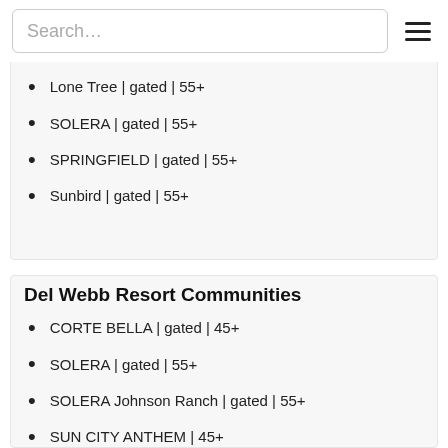Search…
Communities At 55+ Communities
Lone Tree | gated | 55+
SOLERA | gated | 55+
SPRINGFIELD | gated | 55+
Sunbird | gated | 55+
Del Webb Resort Communities
CORTE BELLA | gated | 45+
SOLERA | gated | 55+
SOLERA Johnson Ranch | gated | 55+
SUN CITY ANTHEM | 45+
SUN CITY FESTIVAL | 45+